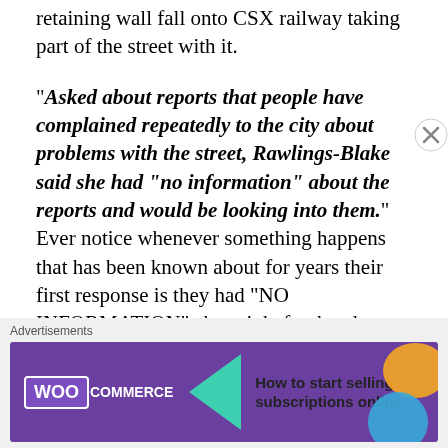retaining wall fall onto CSX railway taking part of the street with it.
“Asked about reports that people have complained repeatedly to the city about problems with the street, Rawlings-Blake said she had “no information” about the reports and would be looking into them.” Ever notice whenever something happens that has been known about for years their first response is they had “NO INFORMATION” about it beforehand.
May 1, 2014
[Figure (other): WooCommerce advertisement banner: purple background with WooCommerce logo and teal arrow, text 'How to start selling subscriptions online', orange and blue decorative shapes]